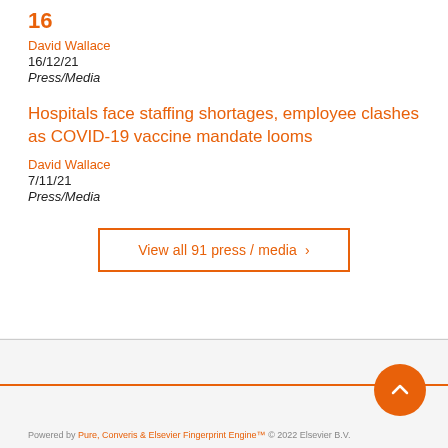16
David Wallace
16/12/21
Press/Media
Hospitals face staffing shortages, employee clashes as COVID-19 vaccine mandate looms
David Wallace
7/11/21
Press/Media
View all 91 press / media ›
Powered by Pure, Converis & Elsevier Fingerprint Engine™ © 2022 Elsevier B.V.